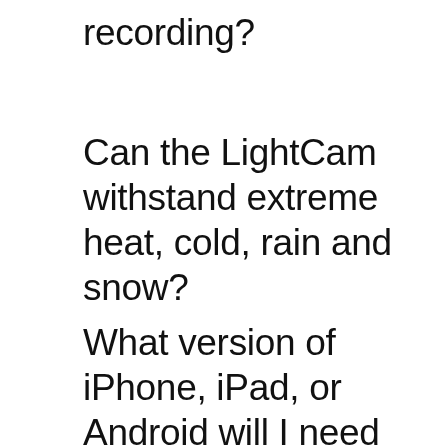recording?
Can the LightCam withstand extreme heat, cold, rain and snow?
What version of iPhone, iPad, or Android will I need for the mobile version of the App?